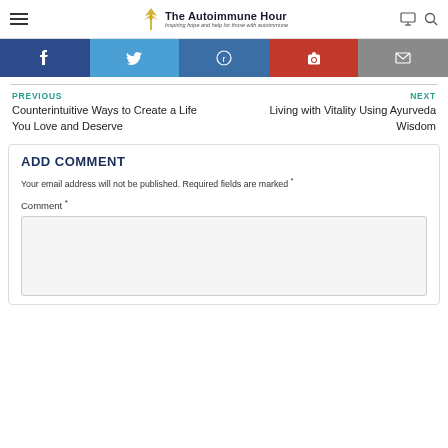The Autoimmune Hour — Inspiring hope and help for those with autoimmune
[Figure (infographic): Social share buttons: Facebook, Twitter, Reddit, Pinterest, Email]
PREVIOUS
Counterintuitive Ways to Create a Life You Love and Deserve
NEXT
Living with Vitality Using Ayurveda Wisdom
ADD COMMENT
Your email address will not be published. Required fields are marked *
Comment *